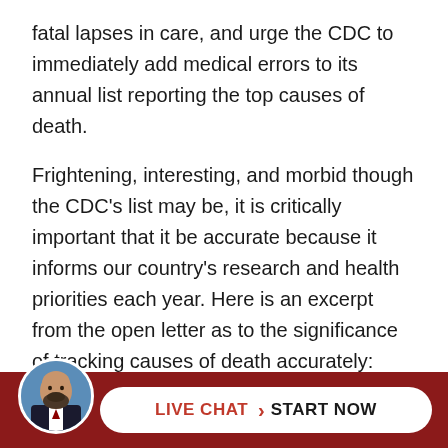fatal lapses in care, and urge the CDC to immediately add medical errors to its annual list reporting the top causes of death.
Frightening, interesting, and morbid though the CDC's list may be, it is critically important that it be accurate because it informs our country's research and health priorities each year. Here is an excerpt from the open letter as to the significance of tracking causes of death accurately:
[Figure (photo): Circular avatar photo of a bald man with a beard wearing a suit, positioned in the bottom-left footer area]
pro
LIVE CHAT > START NOW